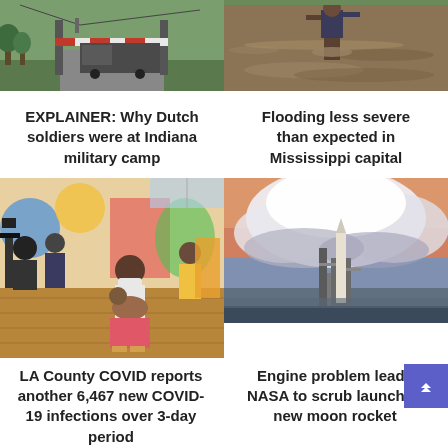[Figure (photo): Military vehicle/truck at a gate with power lines and green trees in background]
[Figure (photo): Person wading through brown flood water]
EXPLAINER: Why Dutch soldiers were at Indiana military camp
Flooding less severe than expected in Mississippi capital
[Figure (photo): Woman wearing mask crouching with a baby/toddler in an indoor event space with murals and press cameras]
[Figure (photo): Rocket on launch pad at dusk with dramatic cloud sky]
LA County COVID reports another 6,467 new COVID-19 infections over 3-day period
Engine problem leads NASA to scrub launch of new moon rocket
[Figure (photo): Partial bottom strip image (cropped)]
[Figure (photo): Partial bottom strip image right side (cropped)]